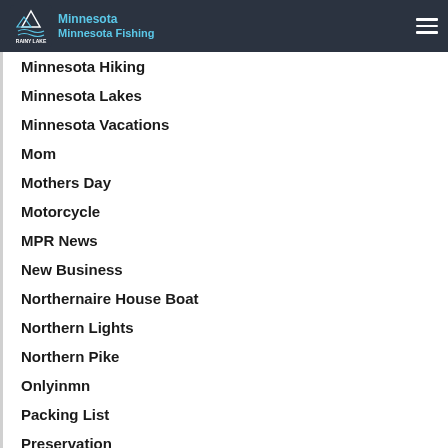Minnesota Rainy Lake | Minnesota Fishing
Minnesota Hiking
Minnesota Lakes
Minnesota Vacations
Mom
Mothers Day
Motorcycle
MPR News
New Business
Northernaire House Boat
Northern Lights
Northern Pike
Onlyinmn
Packing List
Preservation
Rainier Minnesota
Rainy Lake